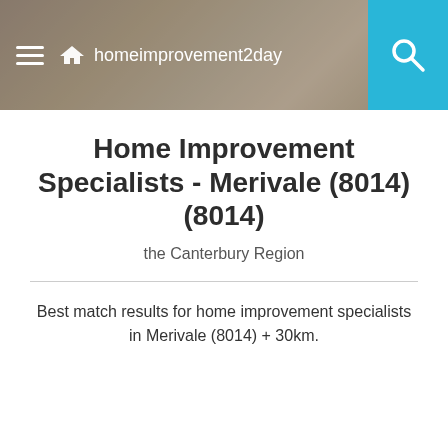[Figure (screenshot): Website header bar with blurred photo background showing a person, hamburger menu icon, homeimprovement2day logo, and cyan search button on the right]
Home Improvement Specialists - Merivale (8014) (8014)
the Canterbury Region
Best match results for home improvement specialists in Merivale (8014) + 30km.